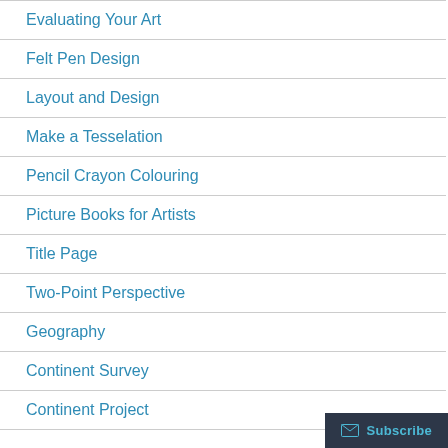Evaluating Your Art
Felt Pen Design
Layout and Design
Make a Tesselation
Pencil Crayon Colouring
Picture Books for Artists
Title Page
Two-Point Perspective
Geography
Continent Survey
Continent Project